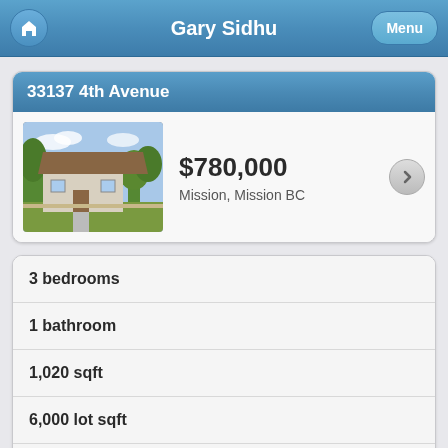Gary Sidhu
33137 4th Avenue
[Figure (photo): Exterior photo of a single-story house with trees in background]
$780,000
Mission, Mission BC
3 bedrooms
1 bathroom
1,020 sqft
6,000 lot sqft
built in 1945
$2,548 taxes in 2021
House